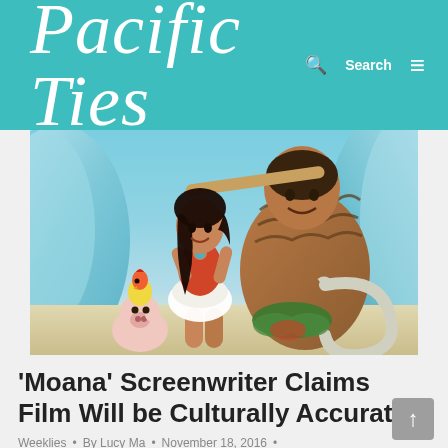Pacific Ties
[Figure (photo): Promotional image from Disney's Moana animated film showing Moana holding a paddle, Maui behind her, with a small pig (Pua) and rooster (Heihei) in front, ocean waves in background.]
‘Moana’ Screenwriter Claims Film Will be Culturally Accurate
Weeklies • By Lucy Ma • November 18, 2016 •